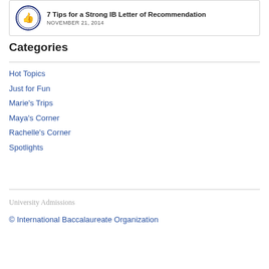[Figure (logo): Circular blue stamp-style logo with thumbs up icon]
7 Tips for a Strong IB Letter of Recommendation
NOVEMBER 21, 2014
Categories
Hot Topics
Just for Fun
Marie's Trips
Maya's Corner
Rachelle's Corner
Spotlights
University Admissions
© International Baccalaureate Organization